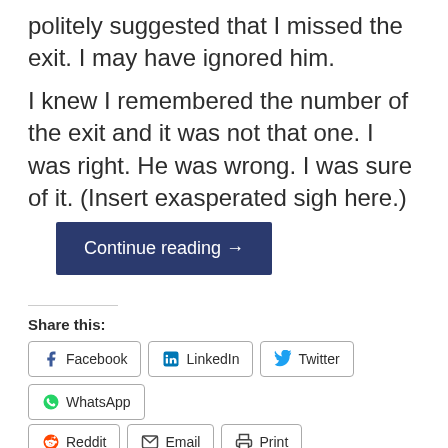politely suggested that I missed the exit. I may have ignored him.
I knew I remembered the number of the exit and it was not that one. I was right. He was wrong. I was sure of it. (Insert exasperated sigh here.)
Continue reading →
Share this:
Facebook
LinkedIn
Twitter
WhatsApp
Reddit
Email
Print
Like this:
Loading...